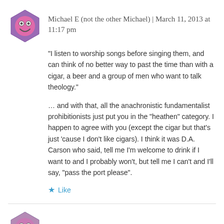Michael E (not the other Michael) | March 11, 2013 at 11:17 pm
“I listen to worship songs before singing them, and can think of no better way to past the time than with a cigar, a beer and a group of men who want to talk theology.”
… and with that, all the anachronistic fundamentalist prohibitionists just put you in the “heathen” category. I happen to agree with you (except the cigar but that’s just ‘cause I don’t like cigars). I think it was D.A. Carson who said, tell me I’m welcome to drink if I want to and I probably won’t, but tell me I can’t and I’ll say, “pass the port please”.
★ Like